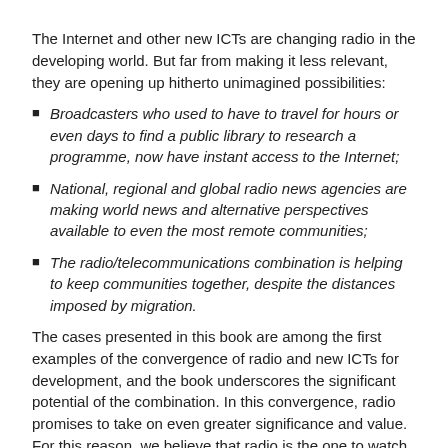The Internet and other new ICTs are changing radio in the developing world. But far from making it less relevant, they are opening up hitherto unimagined possibilities:
Broadcasters who used to have to travel for hours or even days to find a public library to research a programme, now have instant access to the Internet;
National, regional and global radio news agencies are making world news and alternative perspectives available to even the most remote communities;
The radio/telecommunications combination is helping to keep communities together, despite the distances imposed by migration.
The cases presented in this book are among the first examples of the convergence of radio and new ICTs for development, and the book underscores the significant potential of the combination. In this convergence, radio promises to take on even greater significance and value. For this reason, we believe that radio is the one to watch.
More >>